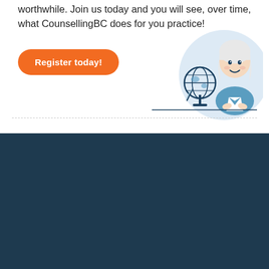worthwhile. Join us today and you will see, over time, what CounsellingBC does for you practice!
[Figure (illustration): Illustration of a smiling female counsellor sitting at a desk with a globe, on a light blue circular background]
Register today!
How to use CounsellingBC
IMPORTANT! COVID-19
DO NOT use this form to request counselling. ONLY use the forms that appear in individual listings for that purpose. You may search under the Approaches Used category of the directory to find counsellors who offer virtual counselling services.